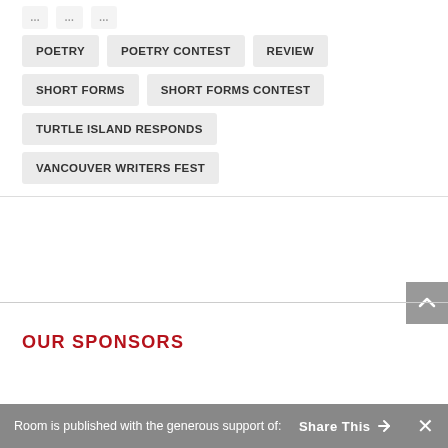POETRY
POETRY CONTEST
REVIEW
SHORT FORMS
SHORT FORMS CONTEST
TURTLE ISLAND RESPONDS
VANCOUVER WRITERS FEST
OUR SPONSORS
Room is published with the generous support of:
Share This